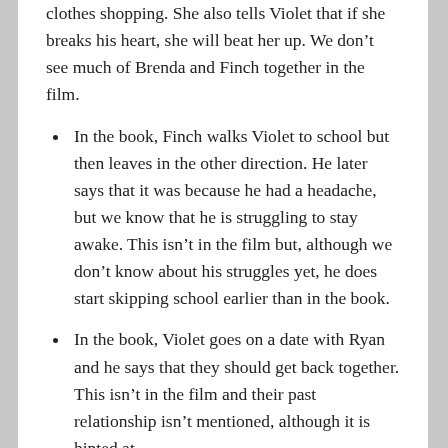clothes shopping. She also tells Violet that if she breaks his heart, she will beat her up. We don't see much of Brenda and Finch together in the film.
In the book, Finch walks Violet to school but then leaves in the other direction. He later says that it was because he had a headache, but we know that he is struggling to stay awake. This isn't in the film but, although we don't know about his struggles yet, he does start skipping school earlier than in the book.
In the book, Violet goes on a date with Ryan and he says that they should get back together. This isn't in the film and their past relationship isn't mentioned, although it is hinted at.
In the film, Violet and Finch have a staring